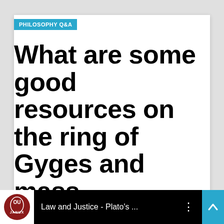PHILOSOPHY Q&A
What are some good resources on the ring of Gyges and mass surveillance?
[Figure (screenshot): Video thumbnail bar showing JANUX logo with OU seal, text 'Law and Justice - Plato's ...' with vertical dots menu, and a cyan scroll-up button]